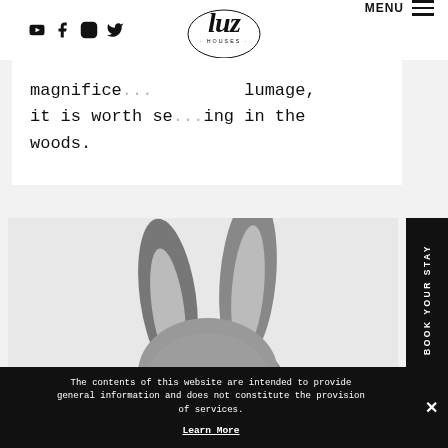Social icons: YouTube, Facebook, Instagram, Twitter | Logo: luz houses | MENU
magnifice... lumage, it is worth se...ing in the woods.
[Figure (photo): Rabbit ears close-up, gray rabbit photographed from behind on white background]
BOOK YOUR STAY
The contents of this website are intended to provide general information and does not constitute the provision of services. Learn More